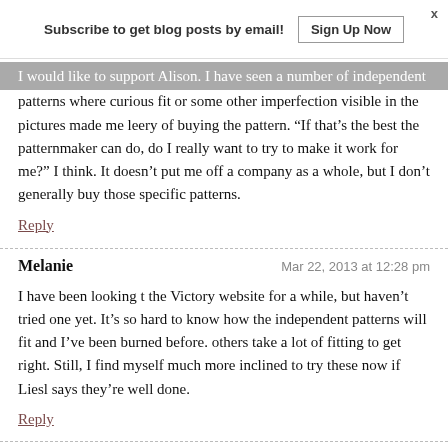Subscribe to get blog posts by email!  Sign Up Now  x
I would like to support Alison. I have seen a number of independent patterns where curious fit or some other imperfection visible in the pictures made me leery of buying the pattern. “If that’s the best the patternmaker can do, do I really want to try to make it work for me?” I think. It doesn’t put me off a company as a whole, but I don’t generally buy those specific patterns.
Reply
Melanie
Mar 22, 2013 at 12:28 pm
I have been looking t the Victory website for a while, but haven’t tried one yet. It’s so hard to know how the independent patterns will fit and I’ve been burned before. others take a lot of fitting to get right. Still, I find myself much more inclined to try these now if Liesl says they’re well done.
Reply